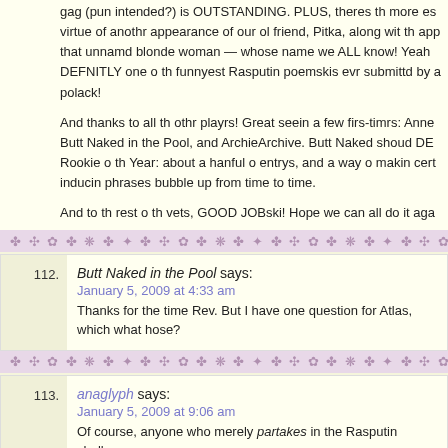gag (pun intended?) is OUTSTANDING. PLUS, theres th more es virtue of anothr appearance of our ol friend, Pitka, along wit th app that unnamd blonde woman — whose name we ALL know! Yeah DEFNITLY one o th funnyest Rasputin poemskis evr submittd by a polack!
And thanks to all th othr playrs! Great seein a few firs-timrs: Anne Butt Naked in the Pool, and ArchieArchive. Butt Naked shoud DE Rookie o th Year: about a hanful o entrys, and a way o makin cert inducin phrases bubble up from time to time.
And to th rest o th vets, GOOD JOBski! Hope we can all do it aga
Butt Naked in the Pool says:
January 5, 2009 at 4:33 am
Thanks for the time Rev. But I have one question for Atlas, which what hose?
anaglyph says:
January 5, 2009 at 9:06 am
Of course, anyone who merely partakes in the Rasputin challenge